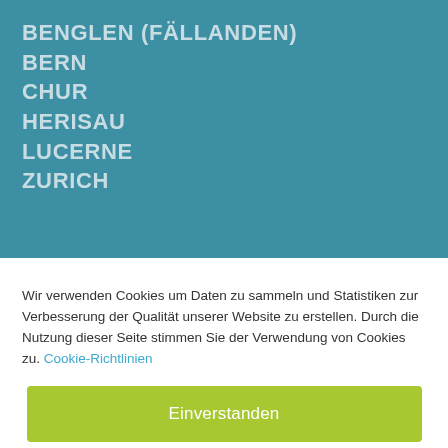BENGLEN (FÄLLANDEN)
BERN
CHUR
HERISAU
LUCERNE
ZURICH
Wir verwenden Cookies um Daten zu sammeln und Statistiken zur Verbesserung der Qualität unserer Website zu erstellen. Durch die Nutzung dieser Seite stimmen Sie der Verwendung von Cookies zu. Cookie-Richtlinien
Einverstanden